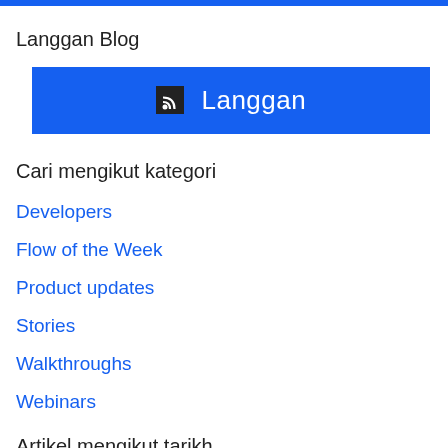Langgan Blog
[Figure (other): Blue subscribe button with RSS icon and text 'Langgan']
Cari mengikut kategori
Developers
Flow of the Week
Product updates
Stories
Walkthroughs
Webinars
Artikel mengikut tarikh